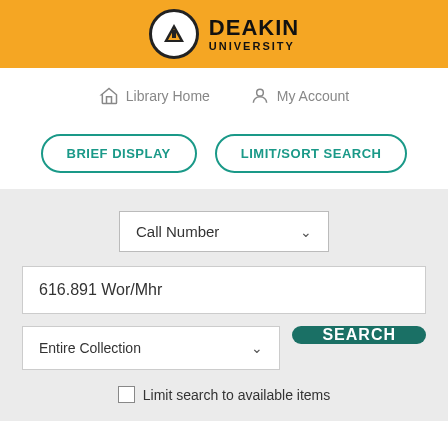[Figure (logo): Deakin University logo with shield icon on orange background header bar]
Library Home
My Account
BRIEF DISPLAY
LIMIT/SORT SEARCH
Call Number
616.891 Wor/Mhr
Entire Collection
SEARCH
Limit search to available items